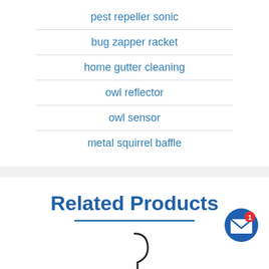pest repeller sonic
bug zapper racket
home gutter cleaning
owl reflector
owl sensor
metal squirrel baffle
Related Products
[Figure (other): Partial product image showing a thin curved hook/wand object against white background]